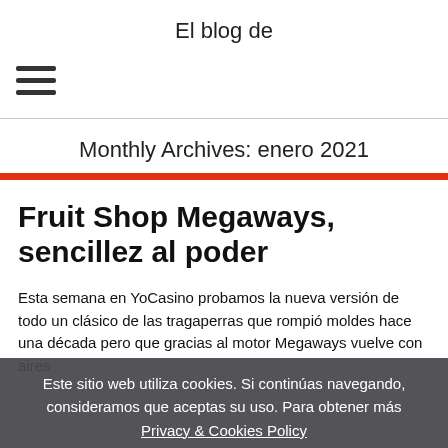El blog de
[Figure (other): Hamburger menu icon — three horizontal lines]
Monthly Archives: enero 2021
Fruit Shop Megaways, sencillez al poder
Esta semana en YoCasino probamos la nueva versión de todo un clásico de las tragaperras que rompió moldes hace una década pero que gracias al motor Megaways vuelve con aires
Este sitio web utiliza cookies. Si continúas navegando, consideramos que aceptas su uso. Para obtener más información, Privacy & Cookies Policy